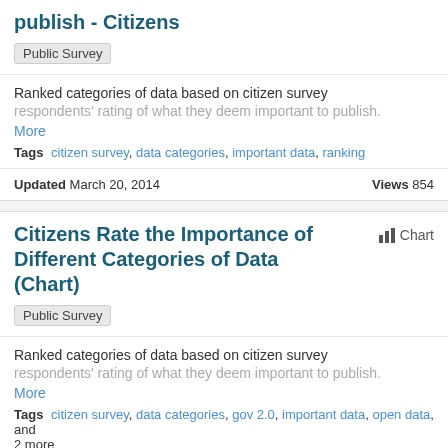publish - Citizens
Public Survey
Ranked categories of data based on citizen survey respondents' rating of what they deem important to publish.
More
Tags  citizen survey, data categories, important data, ranking
Updated March 20, 2014    Views 854
Citizens Rate the Importance of Different Categories of Data (Chart)
Chart
Public Survey
Ranked categories of data based on citizen survey respondents' rating of what they deem important to publish.
More
Tags  citizen survey, data categories, gov 2.0, important data, open data, and 2 more